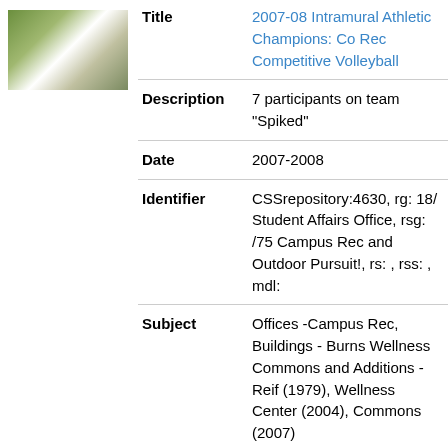[Figure (photo): Thumbnail photo of a group of people outdoors, volleyball team]
| Title | 2007-08 Intramural Athletic Champions: Co Rec Competitive Volleyball |
| Description | 7 participants on team "Spiked" |
| Date | 2007-2008 |
| Identifier | CSSrepository:4630, rg: 18/ Student Affairs Office, rsg: /75 Campus Rec and Outdoor Pursuit!, rs: , rss: , mdl: |
| Subject | Offices -Campus Rec, Buildings - Burns Wellness Commons and Additions - Reif (1979), Wellness Center (2004), Commons (2007) |
[Figure (photo): Thumbnail photo of a group of people indoors, basketball team]
| Title | 2007-08 Intramural Athletic Champions: Men's 5-on-5 Basketball |